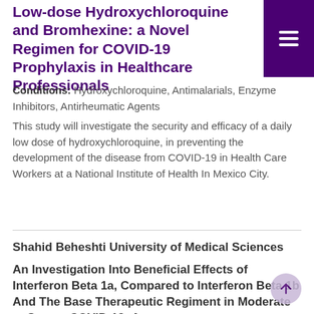Low-dose Hydroxychloroquine and Bromhexine: a Novel Regimen for COVID-19 Prophylaxis in Healthcare Professionals
Conditions: Hydroxychloroquine, Antimalarials, Enzyme Inhibitors, Antirheumatic Agents
This study will investigate the security and efficacy of a daily low dose of hydroxychloroquine, in preventing the development of the disease from COVID-19 in Health Care Workers at a National Institute of Health In Mexico City.
Shahid Beheshti University of Medical Sciences
An Investigation Into Beneficial Effects of Interferon Beta 1a, Compared to Interferon Beta 1b And The Base Therapeutic Regiment in Moderate to Severe COVID-19: A